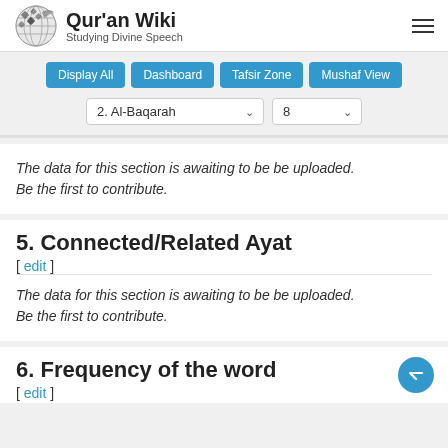Qur'an Wiki — Studying Divine Speech
Display All | Dashboard | Tafsir Zone | Mushaf View
2. Al-Baqarah  |  8
The data for this section is awaiting to be be uploaded. Be the first to contribute.
5. Connected/Related Ayat
[ edit ]
The data for this section is awaiting to be be uploaded. Be the first to contribute.
6. Frequency of the word
[ edit ]